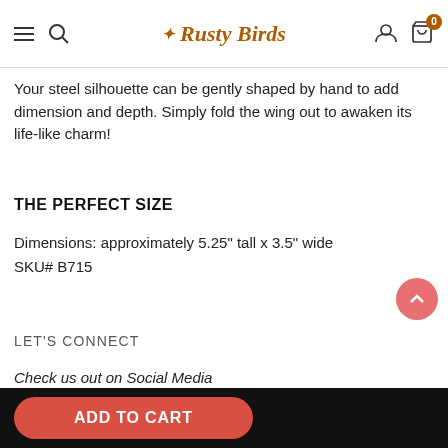Rusty Birds — navigation header with hamburger menu, search, logo, account, and cart icons
Your steel silhouette can be gently shaped by hand to add dimension and depth. Simply fold the wing out to awaken its life-like charm!
THE PERFECT SIZE
Dimensions: approximately 5.25" tall x 3.5" wide
SKU# B715
LET'S CONNECT
Check us out on Social Media
for more nature-inspired home decor!
Facebook   Instagram   Pinterest   Twitter